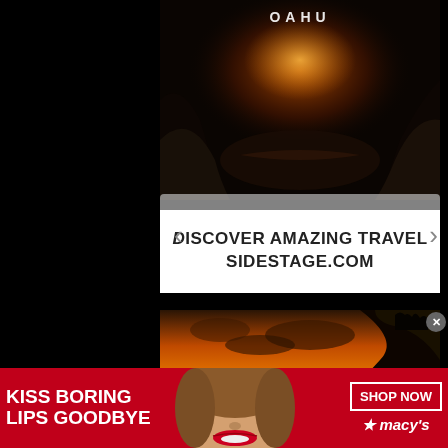[Figure (photo): Top photo: dark rocky coastal scene with ocean waves and sun rays breaking through rocks, with 'OAHU' text overlay at top center]
DISCOVER AMAZING TRAVEL
SIDESTAGE.COM
[Figure (photo): Bottom photo: dramatic Oahu sunset over ocean with silhouetted rocky cliffs and island in background, orange/golden sky, 'OAHU' text overlay]
[Figure (photo): Advertisement banner: red background with woman's face showing red lips. Text: 'KISS BORING LIPS GOODBYE' with 'SHOP NOW' button and Macy's star logo]